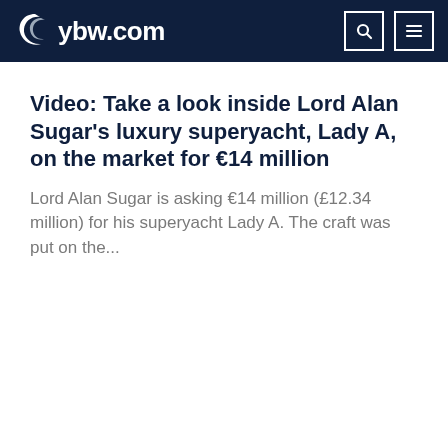ybw.com
Video: Take a look inside Lord Alan Sugar's luxury superyacht, Lady A, on the market for €14 million
Lord Alan Sugar is asking €14 million (£12.34 million) for his superyacht Lady A. The craft was put on the...